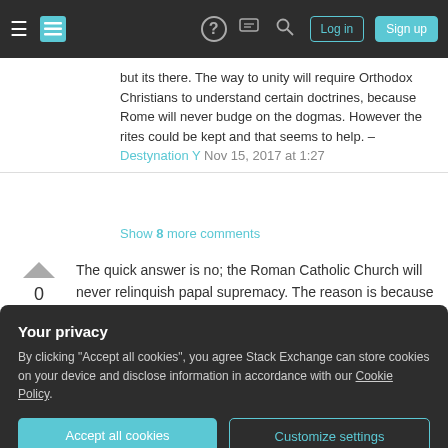Stack Exchange navigation bar with hamburger menu, logo, help, chat, search icons, Log in and Sign up buttons
but its there. The way to unity will require Orthodox Christians to understand certain doctrines, because Rome will never budge on the dogmas. However the rites could be kept and that seems to help. – Destynation Y Nov 15, 2017 at 1:27
Show 8 more comments
The quick answer is no; the Roman Catholic Church will never relinquish papal supremacy. The reason is because of its asserting same over near 2,000 years. Here is its Catechism formulation.
Your privacy
By clicking "Accept all cookies", you agree Stack Exchange can store cookies on your device and disclose information in accordance with our Cookie Policy.
Accept all cookies   Customize settings
then declared to him: "You are Peter, and on this